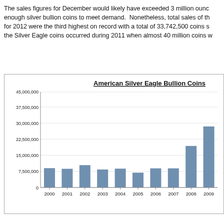The sales figures for December would likely have exceeded 3 million ounces enough silver bullion coins to meet demand. Nonetheless, total sales of the for 2012 were the third highest on record with a total of 33,742,500 coins s the Silver Eagle coins occurred during 2011 when almost 40 million coins w
[Figure (bar-chart): American Silver Eagle Bullion Coins]